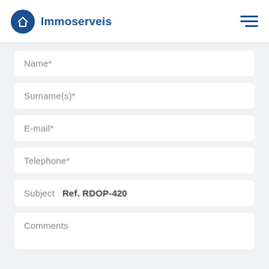Immoserveis
Name*
Surname(s)*
E-mail*
Telephone*
Subject   Ref. RDOP-420
Comments